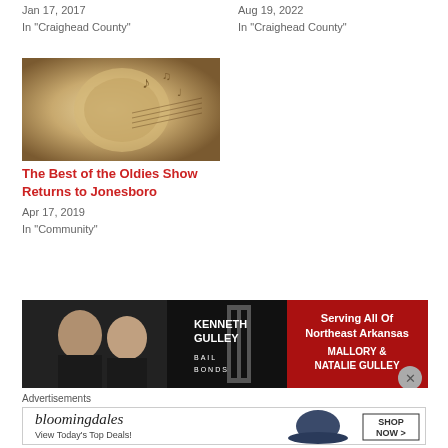Jan 17, 2017
In "Craighead County"
Aug 19, 2022
In "Craighead County"
[Figure (photo): Sepia-toned image of a trumpet and musical notes]
The Best of the Oldies Show Returns to Jonesboro
Apr 17, 2019
In "Community"
[Figure (photo): Kenneth Gulley Bail Bonds advertisement with two women and red panel reading Serving All Of Northeast Arkansas, Mallory & Natalie Gulley]
Advertisements
[Figure (photo): Bloomingdales advertisement: View Today's Top Deals! SHOP NOW >]